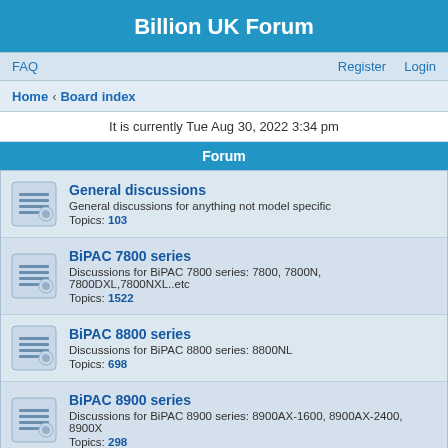Billion UK Forum
FAQ    Register    Login
Home › Board index
It is currently Tue Aug 30, 2022 3:34 pm
Forum
General discussions
General discussions for anything not model specific
Topics: 103
BiPAC 7800 series
Discussions for BiPAC 7800 series: 7800, 7800N, 7800DXL,7800NXL..etc
Topics: 1522
BiPAC 8800 series
Discussions for BiPAC 8800 series: 8800NL
Topics: 698
BiPAC 8900 series
Discussions for BiPAC 8900 series: 8900AX-1600, 8900AX-2400, 8900X
Topics: 298
BiPAC 7402 series
Discussion for BiPAC 7402 series: 7402, 7402G, 7402X, 7402GX, 7402NX..etc
Topics: 54